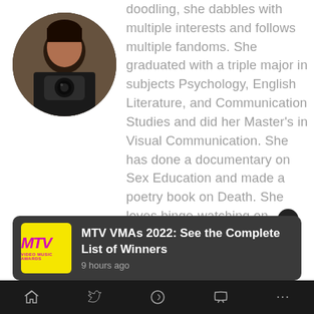[Figure (photo): Circular profile photo of a person holding a camera, taking a mirror selfie, dark clothing, bookshelves in background]
doodling, she dabbles with multiple interests and follows multiple fandoms. She graduated with a triple major in subjects Psychology, English Literature, and Communication Studies and did her Master's in Visual Communication. She has done a documentary on Sex Education and made a poetry book on Death. She loves binge-watching on Netflix and she is currently working as a freelance designer and trying to merge her love of writing and designing together
MTV VMAs 2022: See the Complete List of Winners
9 hours ago